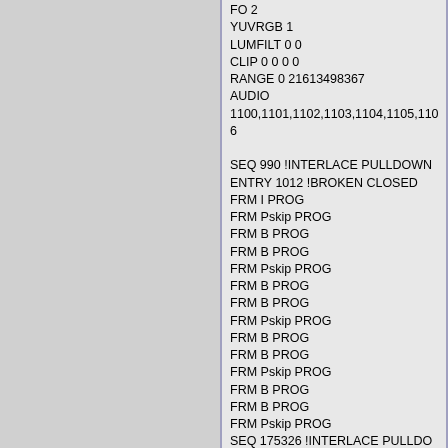FO 2
YUVRGB 1
LUMFILT 0 0
CLIP 0 0 0 0
RANGE 0 21613498367
AUDIO
1100,1101,1102,1103,1104,1105,1106

SEQ 990 !INTERLACE PULLDOWN
ENTRY 1012 !BROKEN CLOSED
FRM I PROG
FRM Pskip PROG
FRM B PROG
FRM B PROG
FRM Pskip PROG
FRM B PROG
FRM B PROG
FRM Pskip PROG
FRM B PROG
FRM B PROG
FRM Pskip PROG
FRM B PROG
FRM B PROG
FRM Pskip PROG
SEQ 175326 !INTERLACE PULLDOWN
ENTRY 175348 !BROKEN !CLOSED
FRM I PROG
FRM B PROG
FRM B PROG